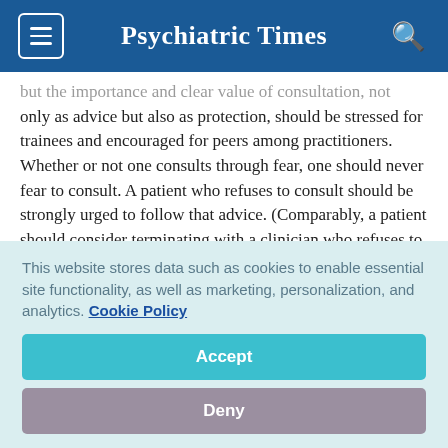Psychiatric Times
but the importance and clear value of consultation, not only as advice but also as protection, should be stressed for trainees and encouraged for peers among practitioners. Whether or not one consults through fear, one should never fear to consult. A patient who refuses to consult should be strongly urged to follow that advice. (Comparably, a patient should consider terminating with a clinician who refuses to consult.)
This website stores data such as cookies to enable essential site functionality, as well as marketing, personalization, and analytics. Cookie Policy
Accept
Deny